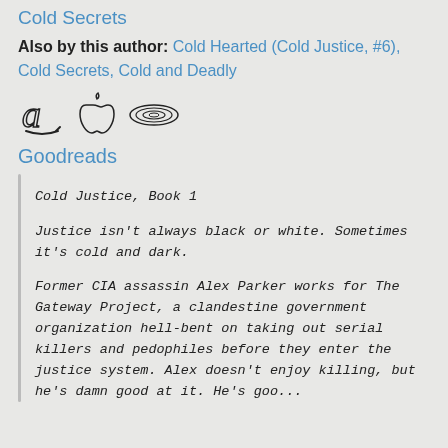Cold Secrets
Also by this author: Cold Hearted (Cold Justice, #6), Cold Secrets, Cold and Deadly
[Figure (logo): Three retail/platform icons: Amazon, Apple, and Kindle/reading service logos]
Goodreads
Cold Justice, Book 1

Justice isn't always black or white. Sometimes it's cold and dark.

Former CIA assassin Alex Parker works for The Gateway Project, a clandestine government organization hell-bent on taking out serial killers and pedophiles before they enter the justice system. Alex doesn't enjoy killing, but he's damn good at it. He's goo...